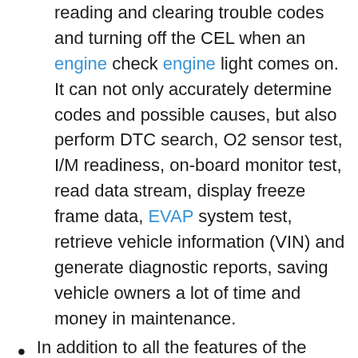reading and clearing trouble codes and turning off the CEL when an engine check engine light comes on. It can not only accurately determine codes and possible causes, but also perform DTC search, O2 sensor test, I/M readiness, on-board monitor test, read data stream, display freeze frame data, EVAP system test, retrieve vehicle information (VIN) and generate diagnostic reports, saving vehicle owners a lot of time and money in maintenance.
In addition to all the features of the universal Bluetooth OBD2 scanners, for the first time we have added performance tests (vehicle acceleration, braking, distance, PID chart with RPM, VSS, ECT, MAF, etc.) and trip analysis that can record trip status (coolant temperature, speed change, RPM, distance, etc.). It also has other functions, such as voice alerts for vehicle speed, water temperature and driving time,